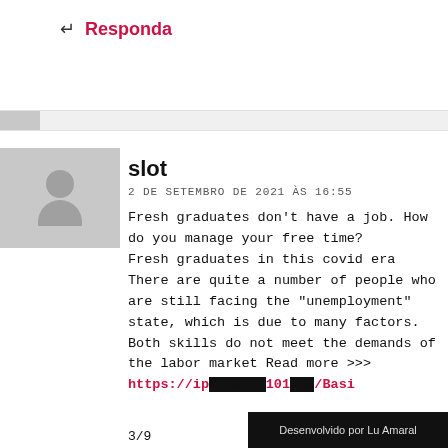↩ Responda
slot
2 DE SETEMBRO DE 2021 ÀS 16:55
Fresh graduates don't have a job. How do you manage your free time?
Fresh graduates in this covid era There are quite a number of people who are still facing the "unemployment" state, which is due to many factors. Both skills do not meet the demands of the labor market Read more >>> https://ip...101.../Basi...
3/9
Desenvolvido por Lu Amaral